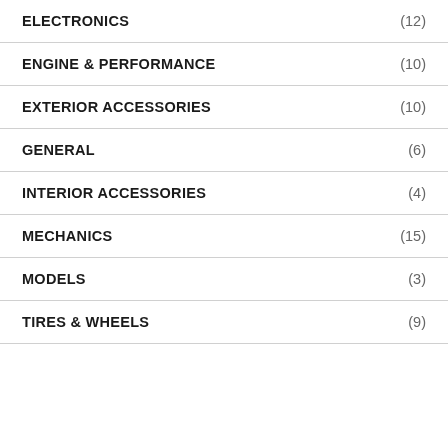ELECTRONICS (12)
ENGINE & PERFORMANCE (10)
EXTERIOR ACCESSORIES (10)
GENERAL (6)
INTERIOR ACCESSORIES (4)
MECHANICS (15)
MODELS (3)
TIRES & WHEELS (9)